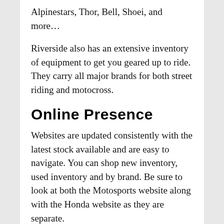Alpinestars, Thor, Bell, Shoei, and more...
Riverside also has an extensive inventory of equipment to get you geared up to ride. They carry all major brands for both street riding and motocross.
Online Presence
Websites are updated consistently with the latest stock available and are easy to navigate. You can shop new inventory, used inventory and by brand. Be sure to look at both the Motosports website along with the Honda website as they are separate.
Riverside has a great social media presence